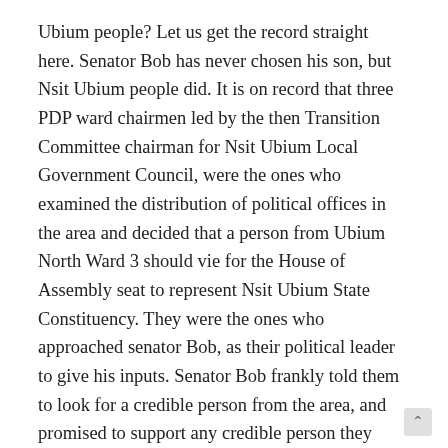Ubium people? Let us get the record straight here. Senator Bob has never chosen his son, but Nsit Ubium people did. It is on record that three PDP ward chairmen led by the then Transition Committee chairman for Nsit Ubium Local Government Council, were the ones who examined the distribution of political offices in the area and decided that a person from Ubium North Ward 3 should vie for the House of Assembly seat to represent Nsit Ubium State Constituency. They were the ones who approached senator Bob, as their political leader to give his inputs. Senator Bob frankly told them to look for a credible person from the area, and promised to support any credible person they would put forward.
The Transition Committee chairman at that time,